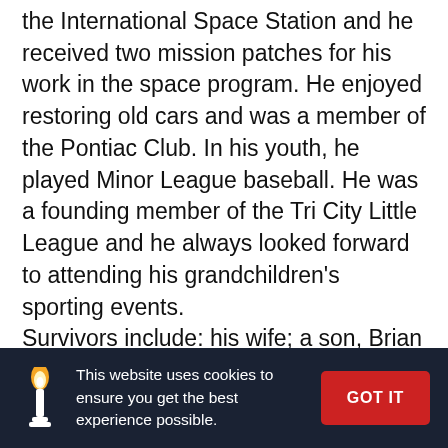the International Space Station and he received two mission patches for his work in the space program. He enjoyed restoring old cars and was a member of the Pontiac Club. In his youth, he played Minor League baseball. He was a founding member of the Tri City Little League and he always looked forward to attending his grandchildren's sporting events. Survivors include: his wife; a son, Brian (Krista) Ray; two daughters, Tina (David) Coalson and Debbie (Keith) Kirchhardt; four grandchildren, Kollin and Jordan Kirchhardt , Marshall Coalson and Carter Ray Coalson; a brother, Carroll (Janet) Ray; his beloved aunt, Gertrude Cooper; two
This website uses cookies to ensure you get the best experience possible.
GOT IT